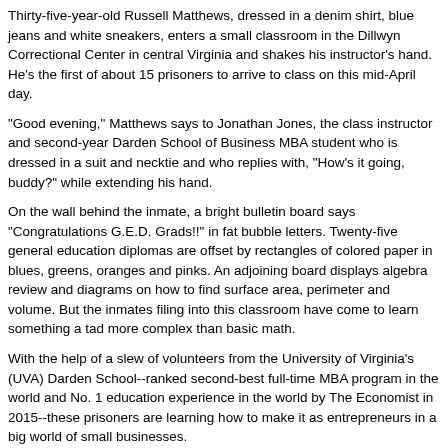Thirty-five-year-old Russell Matthews, dressed in a denim shirt, blue jeans and white sneakers, enters a small classroom in the Dillwyn Correctional Center in central Virginia and shakes his instructor's hand. He's the first of about 15 prisoners to arrive to class on this mid-April day.
"Good evening," Matthews says to Jonathan Jones, the class instructor and second-year Darden School of Business MBA student who is dressed in a suit and necktie and who replies with, "How's it going, buddy?" while extending his hand.
On the wall behind the inmate, a bright bulletin board says "Congratulations G.E.D. Grads!!" in fat bubble letters. Twenty-five general education diplomas are offset by rectangles of colored paper in blues, greens, oranges and pinks. An adjoining board displays algebra review and diagrams on how to find surface area, perimeter and volume. But the inmates filing into this classroom have come to learn something a tad more complex than basic math.
With the help of a slew of volunteers from the University of Virginia's (UVA) Darden School--ranked second-best full-time MBA program in the world and No. 1 education experience in the world by The Economist in 2015--these prisoners are learning how to make it as entrepreneurs in a big world of small businesses.
As part of the Darden Prisoner Re-entry Education Program, founded by UVA associate professor of business administration Greg Fairchild in 2011 and now co-administered by Fairchild's wife, Tierney, offenders residing in two Virginia prisons--Dillwyn Correctional Center and Fluvanna Correctional Center for Women--have the opportunity to earn a certificate of completion in Darden's entrepreneurship and financial capability...